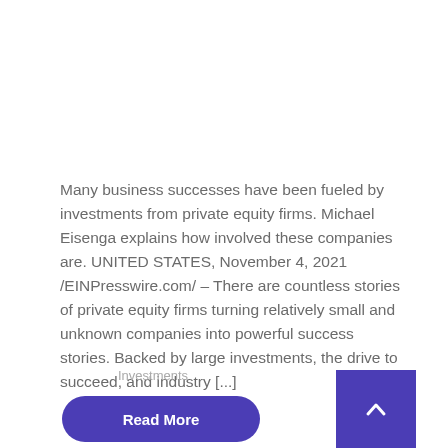Many business successes have been fueled by investments from private equity firms. Michael Eisenga explains how involved these companies are. UNITED STATES, November 4, 2021 /EINPresswire.com/ – There are countless stories of private equity firms turning relatively small and unknown companies into powerful success stories. Backed by large investments, the drive to succeed, and industry [...]
Investments
Read More